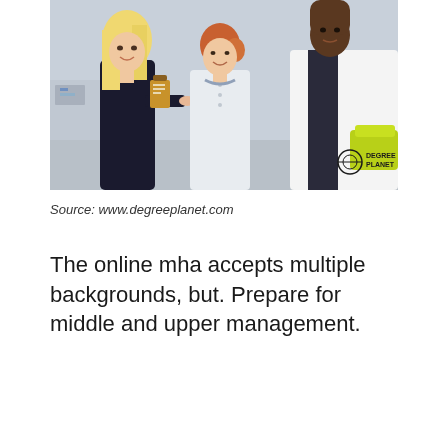[Figure (photo): Healthcare professionals in a clinical setting: a woman in a black blazer speaking with a nurse in white uniform and a man in a white lab coat. A patient appears to be seated. Degree Planet logo watermark in bottom right corner.]
Source: www.degreeplanet.com
The online mha accepts multiple backgrounds, but. Prepare for middle and upper management.